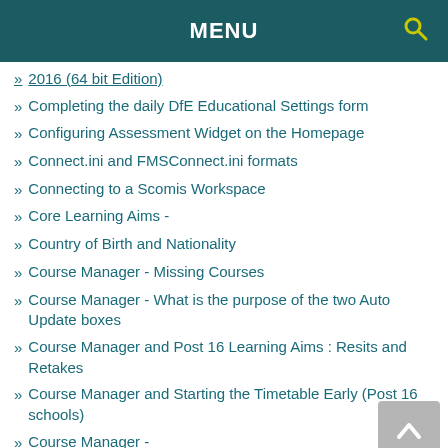MENU
2016 (64 bit Edition)
Completing the daily DfE Educational Settings form
Configuring Assessment Widget on the Homepage
Connect.ini and FMSConnect.ini formats
Connecting to a Scomis Workspace
Core Learning Aims -
Country of Birth and Nationality
Course Manager - Missing Courses
Course Manager - What is the purpose of the two Auto Update boxes
Course Manager and Post 16 Learning Aims : Resits and Retakes
Course Manager and Starting the Timetable Early (Post 16 schools)
Course Manager - (partially visible)